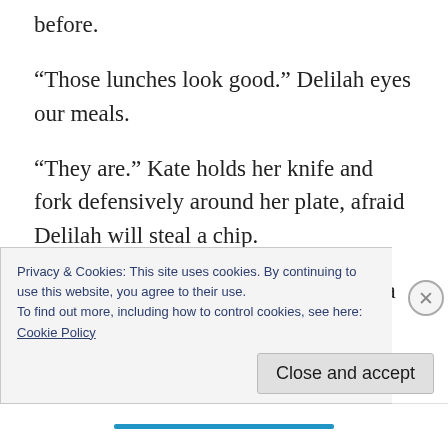before.
“Those lunches look good.” Delilah eyes our meals.
“They are.” Kate holds her knife and fork defensively around her plate, afraid Delilah will steal a chip.
“You know in America, they only use a fork.” Jim notices Kate’s two-weaponed approach
Privacy & Cookies: This site uses cookies. By continuing to use this website, you agree to their use.
To find out more, including how to control cookies, see here: Cookie Policy
Close and accept